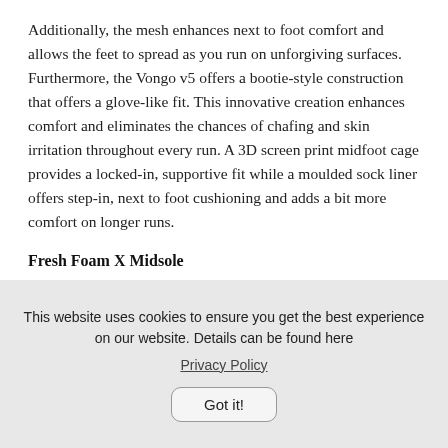Additionally, the mesh enhances next to foot comfort and allows the feet to spread as you run on unforgiving surfaces. Furthermore, the Vongo v5 offers a bootie-style construction that offers a glove-like fit. This innovative creation enhances comfort and eliminates the chances of chafing and skin irritation throughout every run. A 3D screen print midfoot cage provides a locked-in, supportive fit while a moulded sock liner offers step-in, next to foot cushioning and adds a bit more comfort on longer runs.
Fresh Foam X Midsole
The newest version of Fresh Foam is a more energetic rebound than its predecessor. The full-length Fresh Foam keeps the
This website uses cookies to ensure you get the best experience on our website. Details can be found here
Privacy Policy
Got it!